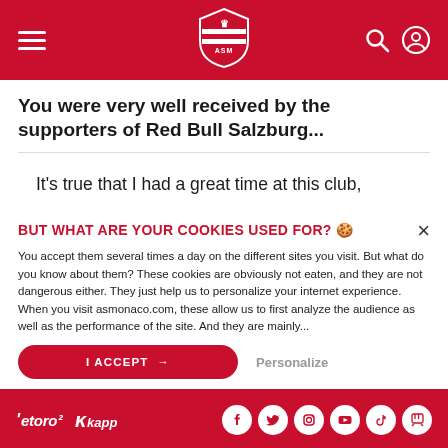AS Monaco navigation bar with hamburger menu, club logo, search and profile icons
You were very well received by the supporters of Red Bull Salzburg...
It's true that I had a great time at this club,
BUT WHAT ARE YOUR COOKIES USED FOR? 🍪
You accept them several times a day on the different sites you visit. But what do you know about them? These cookies are obviously not eaten, and they are not dangerous either. They just help us to personalize your internet experience. When you visit asmonaco.com, these allow us to first analyze the audience as well as the performance of the site. And they are mainly...
I ACCEPT →   Personalize
eToro Kappa logos and social media icons: Facebook, Twitter, Instagram, YouTube, TikTok, Twitch